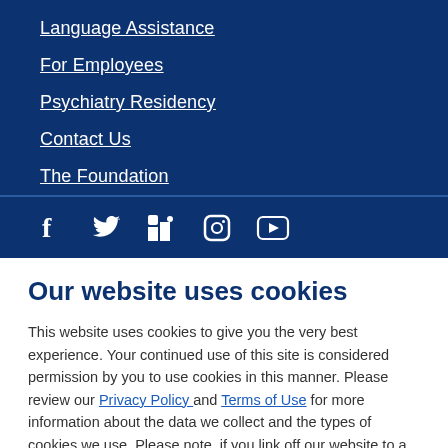Language Assistance
For Employees
Psychiatry Residency
Contact Us
The Foundation
[Figure (other): Social media icons: Facebook, Twitter, LinkedIn, Instagram, YouTube]
Our website uses cookies
This website uses cookies to give you the very best experience. Your continued use of this site is considered permission by you to use cookies in this manner. Please review our Privacy Policy and Terms of Use for more information about the data we collect and the types of cookies we use. Please note, if you link off our website to a 3rd party site of any kind, that website has its own terms and conditions.